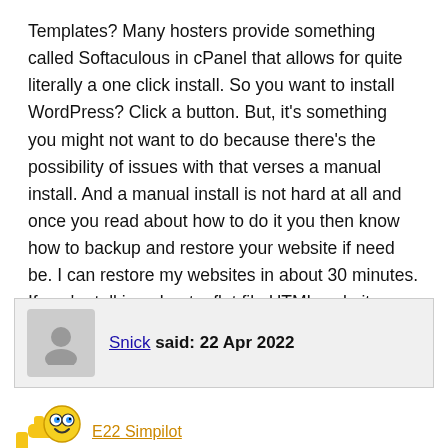Templates? Many hosters provide something called Softaculous in cPanel that allows for quite literally a one click install. So you want to install WordPress? Click a button. But, it's something you might not want to do because there's the possibility of issues with that verses a manual install. And a manual install is not hard at all and once you read about how to do it you then know how to backup and restore your website if need be. I can restore my websites in about 30 minutes. If you're talking about a flat file HTML website, then consider what I said here.
Snick said: 22 Apr 2022
E22 Simpilot